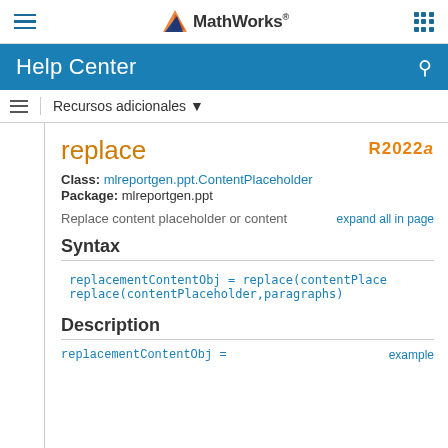MathWorks Help Center
replace
R2022a
Class: mlreportgen.ppt.ContentPlaceholder
Package: mlreportgen.ppt
Replace content placeholder or content
Syntax
replacementContentObj = replace(contentPlace
replace(contentPlaceholder,paragraphs)
Description
replacementContentObj =